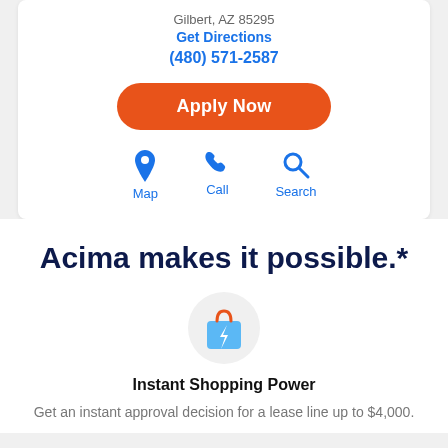Gilbert, AZ 85295
Get Directions
(480) 571-2587
Apply Now
[Figure (infographic): Three icon buttons: Map (location pin icon), Call (phone icon), Search (magnifying glass icon), all in blue]
Acima makes it possible.*
[Figure (illustration): Shopping bag icon with lightning bolt, inside a light gray circle]
Instant Shopping Power
Get an instant approval decision for a lease line up to $4,000.